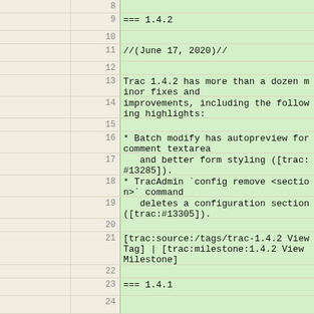|  | line | content |
| --- | --- | --- |
|  | 8 |  |
|  | 9 | === 1.4.2 |
|  | 10 |  |
|  | 11 | //(June 17, 2020)// |
|  | 12 |  |
|  | 13 | Trac 1.4.2 has more than a dozen minor fixes and |
|  | 14 | improvements, including the following highlights: |
|  | 15 |  |
|  | 16 | * Batch modify has autopreview for comment textarea |
|  | 17 |    and better form styling ([trac:#13285]). |
|  | 18 | * TracAdmin `config remove <section>` command |
|  | 19 |    deletes a configuration section ([trac:#13305]). |
|  | 20 |  |
|  | 21 | [trac:source:/tags/trac-1.4.2 View Tag] | [trac:milestone:1.4.2 View Milestone] |
|  | 22 |  |
|  | 23 | === 1.4.1 |
|  | 24 |  |